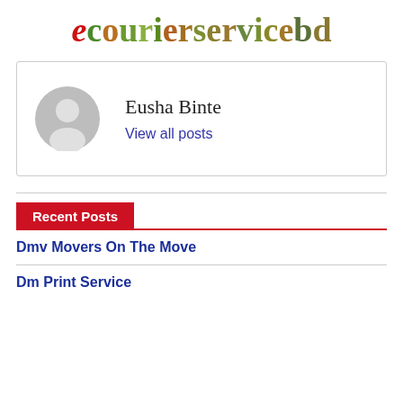[Figure (logo): ecourierservicebd logo with red stylized 'e' icon and multicolored text]
Eusha Binte
View all posts
Recent Posts
Dmv Movers On The Move
Dm Print Service